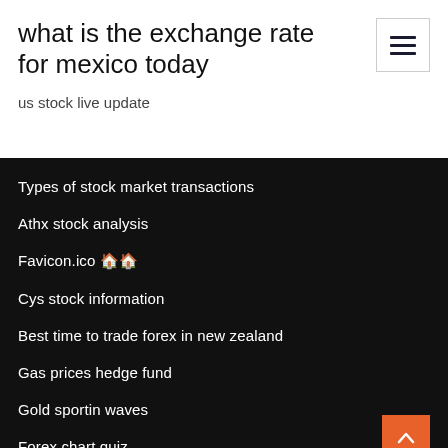what is the exchange rate for mexico today
us stock live update
Types of stock market transactions
Athx stock analysis
Favicon.ico 🏠🏠
Cys stock information
Best time to trade forex in new zealand
Gas prices hedge fund
Gold sportin waves
Forex chart quiz